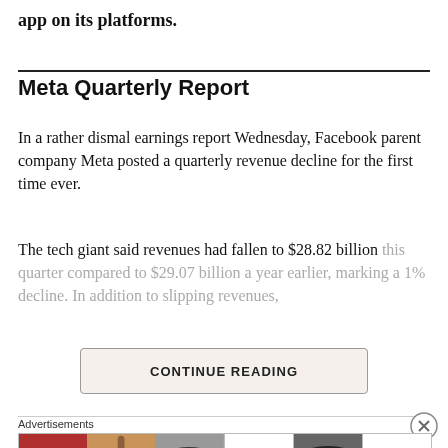app on its platforms.
Meta Quarterly Report
In a rather dismal earnings report Wednesday, Facebook parent company Meta posted a quarterly revenue decline for the first time ever.
The tech giant said revenues had fallen to $28.82 billion this quarter compared to $29.07 billion a year earlier, marking a 1% decline. In addition to slipping revenues,
[Figure (other): CONTINUE READING button - a clickable button/paywall element]
[Figure (other): Advertisements banner showing beauty/cosmetics ads for Ulta with text SHOP NOW]